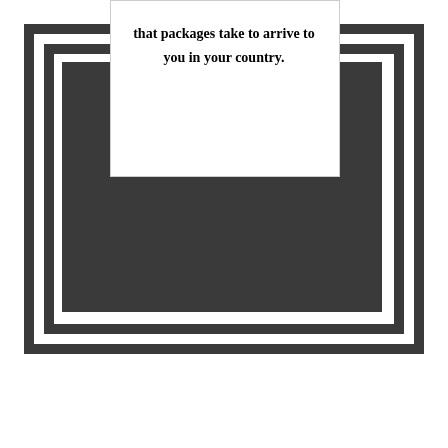that packages take to arrive to you in your country.